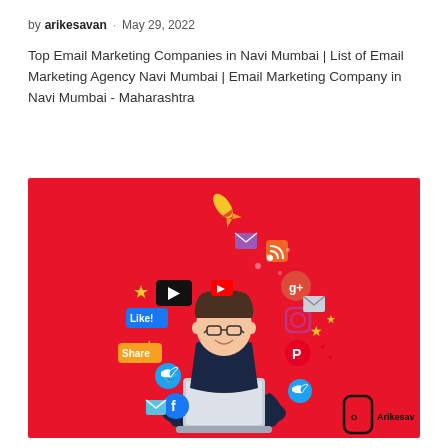by arikesavan · May 29, 2022
Top Email Marketing Companies in Navi Mumbai | List of Email Marketing Agency Navi Mumbai | Email Marketing Company in Navi Mumbai - Maharashtra
[Figure (illustration): Red background illustration of a person sitting cross-legged with a laptop, surrounded by social media icons (Like!, Share, YouTube, Twitter, Facebook, Google+, Pinterest, RSS, email, etc.) floating around them. Arikesavan watermark logo in bottom right corner.]